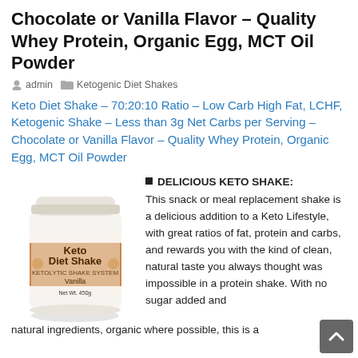Chocolate or Vanilla Flavor – Quality Whey Protein, Organic Egg, MCT Oil Powder
admin  Ketogenic Diet Shakes
Keto Diet Shake – 70:20:10 Ratio – Low Carb High Fat, LCHF, Ketogenic Shake – Less than 3g Net Carbs per Serving – Chocolate or Vanilla Flavor – Quality Whey Protein, Organic Egg, MCT Oil Powder
[Figure (photo): A white jar of Keto Diet Shake (Vanilla flavor) with an orange/brown label]
DELICIOUS KETO SHAKE: This snack or meal replacement shake is a delicious addition to a Keto Lifestyle, with great ratios of fat, protein and carbs, and rewards you with the kind of clean, natural taste you always thought was impossible in a protein shake. With no sugar added and natural ingredients, organic where possible, this is a